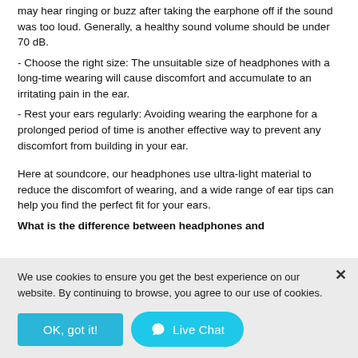may hear ringing or buzz after taking the earphone off if the sound was too loud. Generally, a healthy sound volume should be under 70 dB.
- Choose the right size: The unsuitable size of headphones with a long-time wearing will cause discomfort and accumulate to an irritating pain in the ear.
- Rest your ears regularly: Avoiding wearing the earphone for a prolonged period of time is another effective way to prevent any discomfort from building in your ear.
Here at soundcore, our headphones use ultra-light material to reduce the discomfort of wearing, and a wide range of ear tips can help you find the perfect fit for your ears.
What is the difference between headphones and
We use cookies to ensure you get the best experience on our website. By continuing to browse, you agree to our use of cookies.